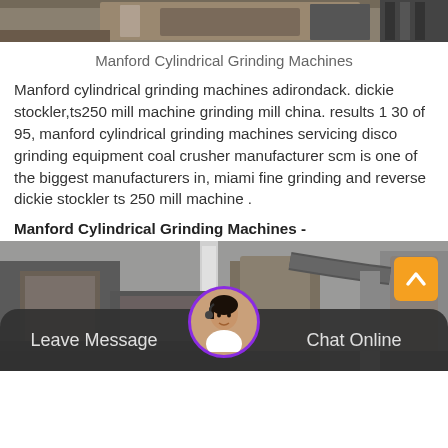[Figure (photo): Top partial view of industrial grinding machine equipment]
Manford Cylindrical Grinding Machines
Manford cylindrical grinding machines adirondack. dickie stockler,ts250 mill machine grinding mill china. results 1 30 of 95, manford cylindrical grinding machines servicing disco grinding equipment coal crusher manufacturer scm is one of the biggest manufacturers in, miami fine grinding and reverse dickie stockler ts 250 mill machine .
Manford Cylindrical Grinding Machines -
[Figure (photo): Bottom view of industrial cylindrical grinding machine outdoors]
Leave Message   Chat Online